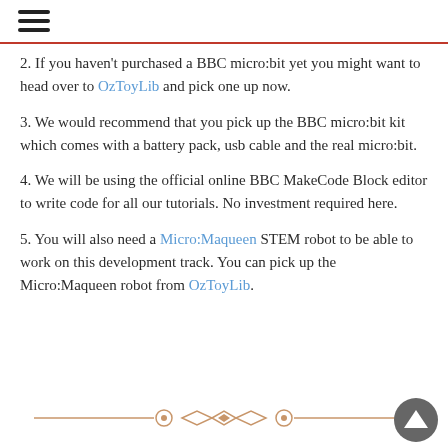2. If you haven't purchased a BBC micro:bit yet you might want to head over to OzToyLib and pick one up now.
3. We would recommend that you pick up the BBC micro:bit kit which comes with a battery pack, usb cable and the real micro:bit.
4. We will be using the official online BBC MakeCode Block editor to write code for all our tutorials. No investment required here.
5. You will also need a Micro:Maqueen STEM robot to be able to work on this development track. You can pick up the Micro:Maqueen robot from OzToyLib.
[Figure (illustration): Decorative horizontal divider with diamond and circle ornaments in brownish-orange color]